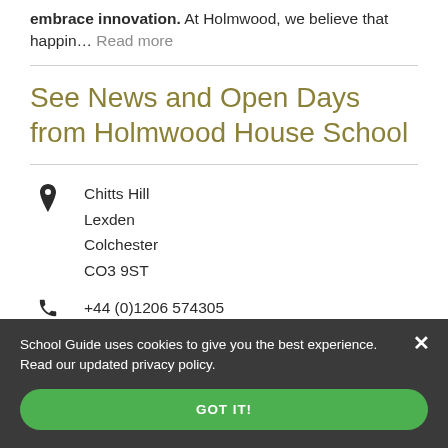embrace innovation. At Holmwood, we believe that happin… Read more
See News and Open Days from Holmwood House School
Chitts Hill
Lexden
Colchester
CO3 9ST
+44 (0)1206 574305
School Guide uses cookies to give you the best experience. Read our updated privacy policy.
GOT IT!